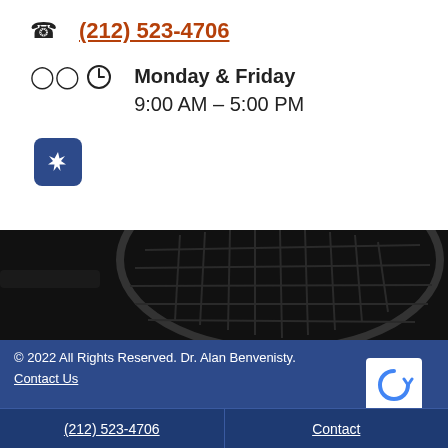(212) 523-4706
Monday & Friday
9:00 AM – 5:00 PM
[Figure (logo): Yelp icon button, dark blue rounded square with white asterisk/star symbol]
[Figure (photo): Dark background image of a tennis racket strings grid, close-up, dark gray and black tones]
© 2022 All Rights Reserved. Dr. Alan Benvenisty.
Contact Us
(212) 523-4706    Contact